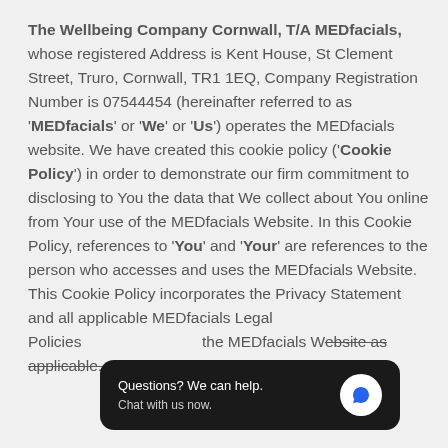The Wellbeing Company Cornwall, T/A MEDfacials, whose registered Address is Kent House, St Clement Street, Truro, Cornwall, TR1 1EQ, Company Registration Number is 07544454 (hereinafter referred to as 'MEDfacials' or 'We' or 'Us') operates the MEDfacials website. We have created this cookie policy ('Cookie Policy') in order to demonstrate our firm commitment to disclosing to You the data that We collect about You online from Your use of the MEDfacials Website. In this Cookie Policy, references to 'You' and 'Your' are references to the person who accesses and uses the MEDfacials Website. This Cookie Policy incorporates the Privacy Statement and all applicable MEDfacials Legal Policies ... the MEDfacials Website as applicable.
[Figure (other): Chat widget overlay: dark rounded rectangle with text 'Questions? We can help. Chat with us now.' and a circular blue chat icon on the right.]